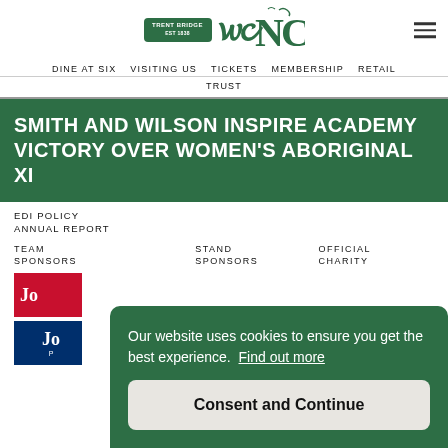TRENT BRIDGE | NCC Logo
DINE AT SIX  VISITING US  TICKETS  MEMBERSHIP  RETAIL  TRUST
SMITH AND WILSON INSPIRE ACADEMY VICTORY OVER WOMEN'S ABORIGINAL XI
EDI POLICY
ANNUAL REPORT
TEAM SPONSORS
STAND SPONSORS
OFFICIAL CHARITY
Our website uses cookies to ensure you get the best experience. Find out more
Consent and Continue